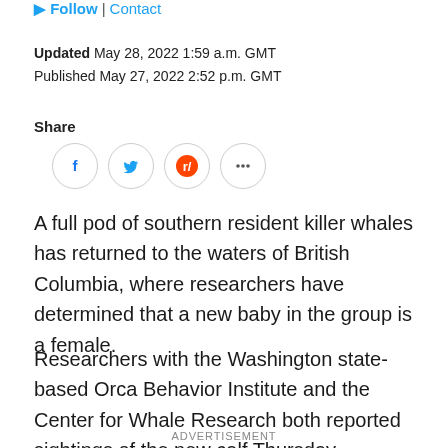Follow | Contact
Updated May 28, 2022 1:59 a.m. GMT
Published May 27, 2022 2:52 p.m. GMT
Share
[Figure (infographic): Social share buttons: Facebook, Twitter, Reddit, More (...)]
A full pod of southern resident killer whales has returned to the waters of British Columbia, where researchers have determined that a new baby in the group is a female.
Researchers with the Washington state-based Orca Behavior Institute and the Center for Whale Research both reported sightings of the new calf Thursday.
ADVERTISEMENT